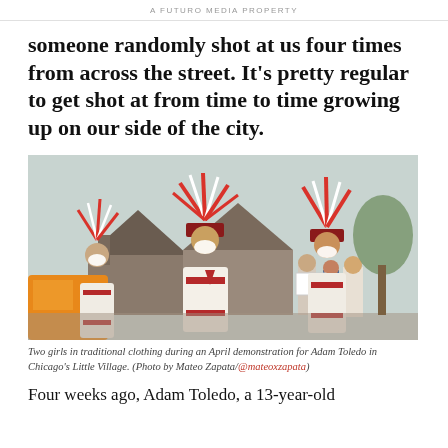A FUTURO MEDIA PROPERTY
someone randomly shot at us four times from across the street. It's pretty regular to get shot at from time to time growing up on our side of the city.
[Figure (photo): Two girls in traditional Indigenous clothing with large feathered headdresses walking during an April demonstration for Adam Toledo in Chicago's Little Village. People in background hold signs. Brick building visible behind.]
Two girls in traditional clothing during an April demonstration for Adam Toledo in Chicago's Little Village. (Photo by Mateo Zapata/@mateoxzapata)
Four weeks ago, Adam Toledo, a 13-year-old